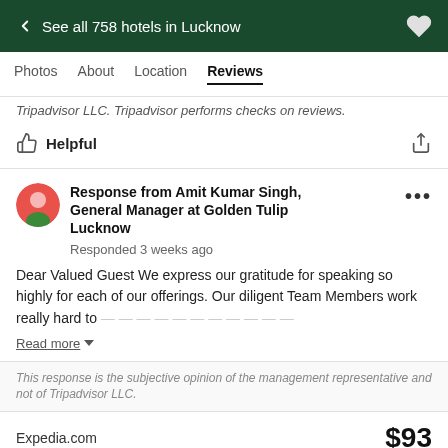← See all 758 hotels in Lucknow
Photos  About  Location  Reviews
Tripadvisor LLC. Tripadvisor performs checks on reviews.
Helpful
Response from Amit Kumar Singh, General Manager at Golden Tulip Lucknow
Responded 3 weeks ago
Dear Valued Guest We express our gratitude for speaking so highly for each of our offerings. Our diligent Team Members work really hard to
Read more
This response is the subjective opinion of the management representative and not of Tripadvisor LLC.
Expedia.com  $93
View deal